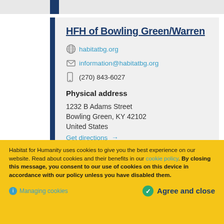HFH of Bowling Green/Warren
habitatbg.org
information@habitatbg.org
(270) 843-6027
Physical address
1232 B Adams Street
Bowling Green, KY 42102
United States
Get directions →
Habitat for Humanity uses cookies to give you the best experience on our website. Read about cookies and their benefits in our cookie policy. By closing this message, you consent to our use of cookies on this device in accordance with our policy unless you have disabled them.
Managing cookies
Agree and close